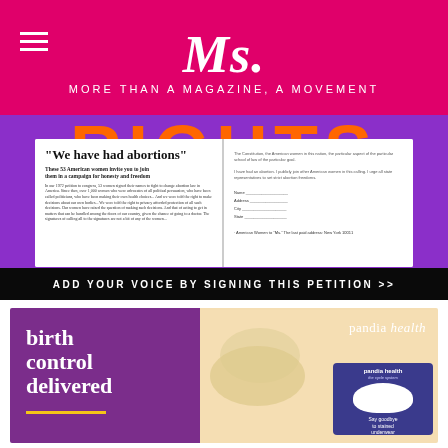Ms. — MORE THAN A MAGAZINE, A MOVEMENT
[Figure (photo): Ms. Magazine open spread showing 'We have had abortions' petition page with purple background and orange RIGHTS text, with black banner reading ADD YOUR VOICE BY SIGNING THIS PETITION >>]
[Figure (photo): Pandia Health advertisement showing birth control delivered text on purple background with product image on tan/cream background]